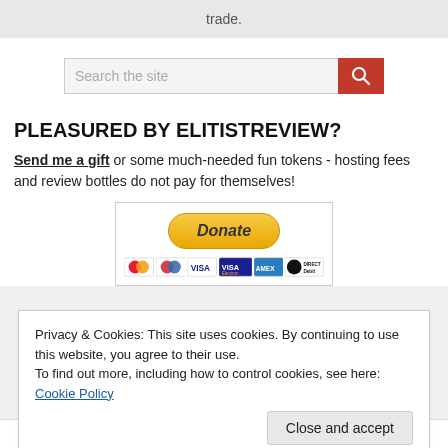trade.
[Figure (other): Search bar with red search button and magnifying glass icon]
PLEASURED BY ELITISTREVIEW?
Send me a gift or some much-needed fun tokens - hosting fees and review bottles do not pay for themselves!
[Figure (other): PayPal Donate button with payment card icons below (Mastercard, Maestro, Visa, Visa Electron, Amex, Direct Debit)]
Privacy & Cookies: This site uses cookies. By continuing to use this website, you agree to their use.
To find out more, including how to control cookies, see here: Cookie Policy
Close and accept
RSS FEEDS